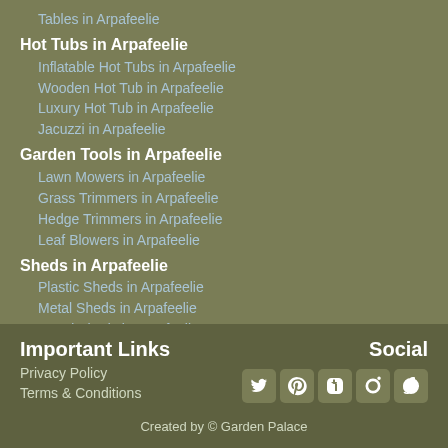Tables in Arpafeelie
Hot Tubs in Arpafeelie
Inflatable Hot Tubs in Arpafeelie
Wooden Hot Tub in Arpafeelie
Luxury Hot Tub in Arpafeelie
Jacuzzi in Arpafeelie
Garden Tools in Arpafeelie
Lawn Mowers in Arpafeelie
Grass Trimmers in Arpafeelie
Hedge Trimmers in Arpafeelie
Leaf Blowers in Arpafeelie
Sheds in Arpafeelie
Plastic Sheds in Arpafeelie
Metal Sheds in Arpafeelie
Wood Sheds in Arpafeelie
Important Links
Social
Privacy Policy
Terms & Conditions
Created by © Garden Palace